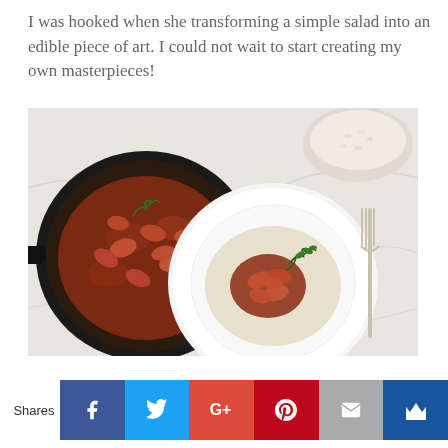I was hooked when she transforming a simple salad into an edible piece of art. I could not wait to start creating my own masterpieces!
[Figure (photo): Overhead view of a shrimp dish served over rice on a white plate, garnished with parsley, next to a cast iron skillet filled with shrimp in tomato sauce, a bowl of rice in the background, and a fork on the right side, all on a marble surface.]
Shares
[Figure (infographic): Social sharing buttons row: Facebook (blue), Twitter (light blue), Google+ (red-orange), Pinterest (dark red), Email (grey), Crown/bookmark (dark blue)]